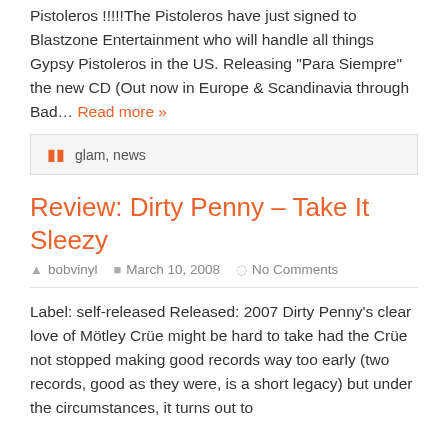Pistoleros !!!!!The Pistoleros have just signed to Blastzone Entertainment who will handle all things Gypsy Pistoleros in the US. Releasing "Para Siempre" the new CD (Out now in Europe & Scandinavia through Bad... Read more »
glam, news
Review: Dirty Penny – Take It Sleezy
bobvinyl  March 10, 2008  No Comments
Label: self-released Released: 2007 Dirty Penny's clear love of Mötley Crüe might be hard to take had the Crüe not stopped making good records way too early (two records, good as they were, is a short legacy) but under the circumstances, it turns out to